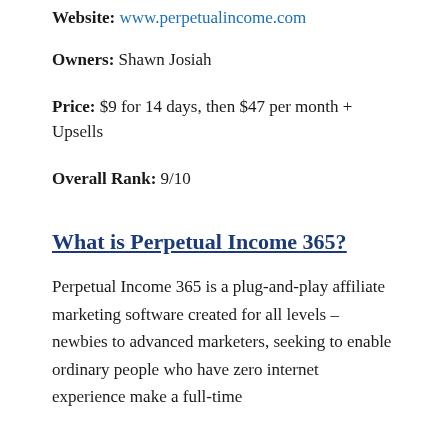Website: www.perpetualincome.com
Owners: Shawn Josiah
Price: $9 for 14 days, then $47 per month + Upsells
Overall Rank: 9/10
What is Perpetual Income 365?
Perpetual Income 365 is a plug-and-play affiliate marketing software created for all levels – newbies to advanced marketers, seeking to enable ordinary people who have zero internet experience make a full-time